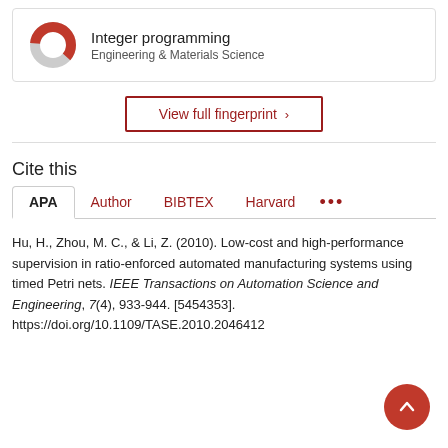[Figure (donut-chart): Partial donut chart icon for Integer programming topic, showing red and grey segments]
Integer programming
Engineering & Materials Science
View full fingerprint ›
Cite this
APA  Author  BIBTEX  Harvard  •••
Hu, H., Zhou, M. C., & Li, Z. (2010). Low-cost and high-performance supervision in ratio-enforced automated manufacturing systems using timed Petri nets. IEEE Transactions on Automation Science and Engineering, 7(4), 933-944. [5454353]. https://doi.org/10.1109/TASE.2010.2046412